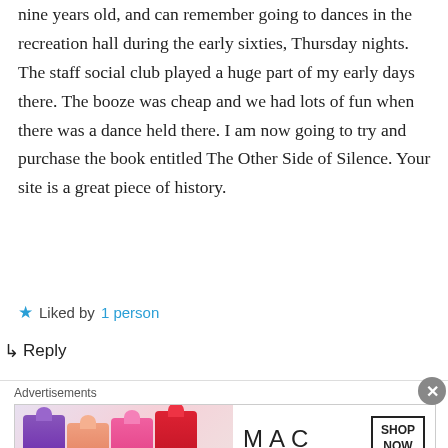nine years old, and can remember going to dances in the recreation hall during the early sixties, Thursday nights. The staff social club played a huge part of my early days there. The booze was cheap and we had lots of fun when there was a dance held there. I am now going to try and purchase the book entitled The Other Side of Silence. Your site is a great piece of history.
★ Liked by 1 person
↳ Reply
Advertisements
[Figure (photo): MAC cosmetics advertisement banner showing purple, peach, and pink lipsticks with MAC logo and SHOP NOW button]